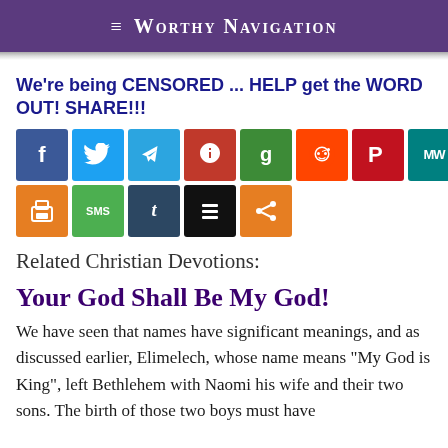≡ Worthy Navigation
We're being CENSORED ... HELP get the WORD OUT! SHARE!!!
[Figure (other): Social media share buttons: Facebook, Twitter, Telegram, Feedly, Gab, Reddit, Parler, MeWe, WhatsApp, Print, SMS, Tumblr, Buffer, Share]
Related Christian Devotions:
Your God Shall Be My God!
We have seen that names have significant meanings, and as discussed earlier, Elimelech, whose name means "My God is King", left Bethlehem with Naomi his wife and their two sons. The birth of those two boys must have